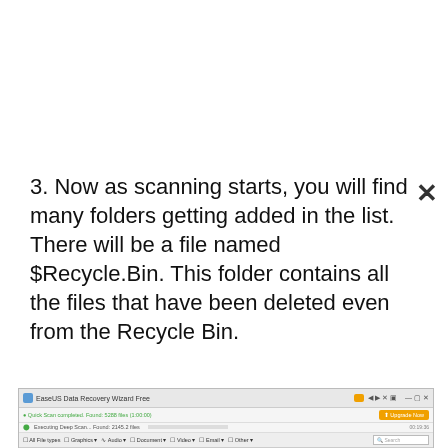3. Now as scanning starts, you will find many folders getting added in the list. There will be a file named $Recycle.Bin. This folder contains all the files that have been deleted even from the Recycle Bin.
[Figure (screenshot): EaseUS Data Recovery Wizard Free screenshot showing Quick Scan and Deep Scan results with $Recycle.Bin folder highlighted in the file list]